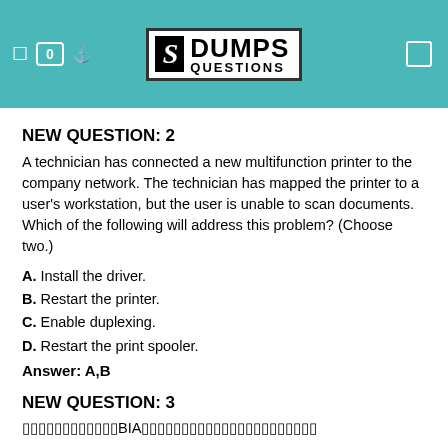DUMPS QUESTIONS
NEW QUESTION: 2
A technician has connected a new multifunction printer to the company network. The technician has mapped the printer to a user's workstation, but the user is unable to scan documents. Which of the following will address this problem? (Choose two.)
A. Install the driver.
B. Restart the printer.
C. Enable duplexing.
D. Restart the print spooler.
Answer: A,B
NEW QUESTION: 3
▯▯▯▯▯▯▯▯▯▯▯▯BIA▯▯▯▯▯▯▯▯▯▯▯▯▯▯▯▯▯▯▯▯▯▯